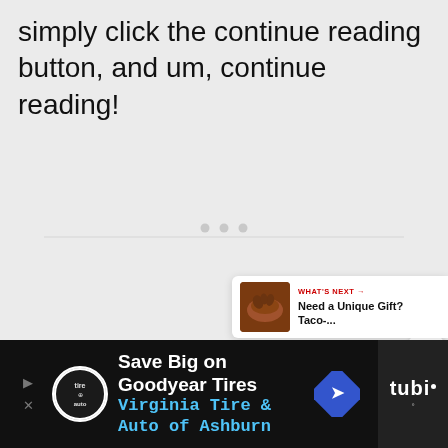simply click the continue reading button, and um, continue reading!
[Figure (screenshot): White content box with three small gray dots in the center, overlaid with a heart button and a share button on the right edge, and a 'What's Next' card in the bottom-right showing a food thumbnail and text 'Need a Unique Gift? Taco-...']
[Figure (screenshot): Black advertisement bar at the bottom with Goodyear Tires ad: logo circle, text 'Save Big on Goodyear Tires / Virginia Tire & Auto of Ashburn', blue diamond arrow icon, and Tubi logo on dark right panel]